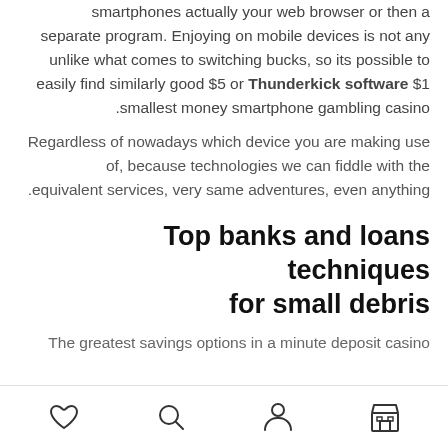smartphones actually your web browser or then a separate program. Enjoying on mobile devices is not any unlike what comes to switching bucks, so its possible to easily find similarly good $5 or Thunderkick software $1 smallest money smartphone gambling casino.
Regardless of nowadays which device you are making use of, because technologies we can fiddle with the equivalent services, very same adventures, even anything.
Top banks and loans techniques for small debris
The greatest savings options in a minute deposit casino